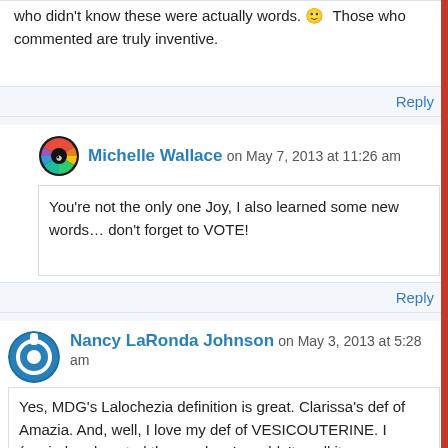who didn't know these were actually words. 🙂 Those who commented are truly inventive.
Reply
Michelle Wallace on May 7, 2013 at 11:26 am
You're not the only one Joy, I also learned some new words… don't forget to VOTE!
Reply
Nancy LaRonda Johnson on May 3, 2013 at 5:28 am
Yes, MDG's Lalochezia definition is great. Clarissa's def of Amazia. And, well, I love my def of VESICOUTERINE. I (copied and pasted the word so I wouldn't spell it wrong again.)